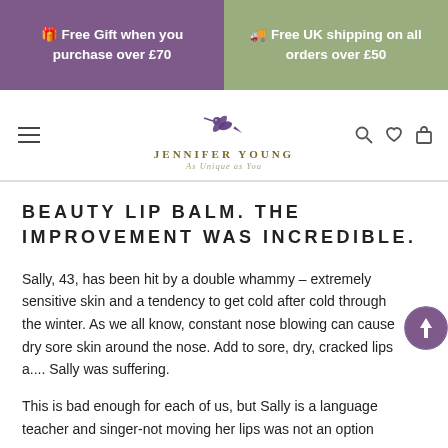🎁 Free Gift when you purchase over £70
🚚 Free UK shipping on all orders over £50
[Figure (logo): Jennifer Young hummingbird logo with text 'JENNIFER YOUNG As Unique as You']
BEAUTY LIP BALM. THE IMPROVEMENT WAS INCREDIBLE.
Sally, 43, has been hit by a double whammy – extremely sensitive skin and a tendency to get cold after cold through the winter. As we all know, constant nose blowing can cause dry sore skin around the nose. Add to sore, dry, cracked lips and Sally was suffering.
This is bad enough for each of us, but Sally is a language teacher and singer-not moving her lips was not an option